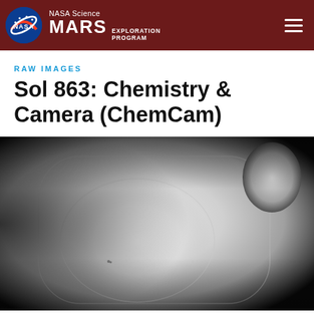NASA Science MARS EXPLORATION PROGRAM
RAW IMAGES
Sol 863: Chemistry & Camera (ChemCam)
[Figure (photo): Black and white ChemCam raw image from Sol 863 showing a circular rock or geological feature on Mars surface, with a bright oval/elliptical shape in the center and a bright rounded protrusion in the upper right corner, against a black background.]